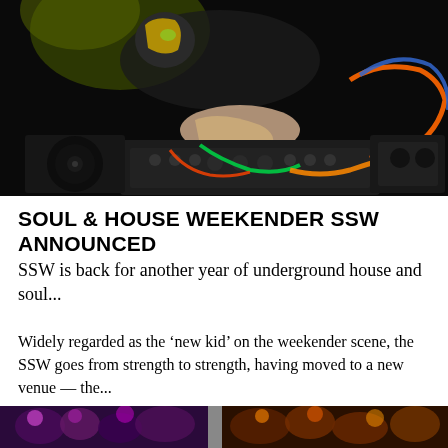[Figure (photo): A DJ or musician in a dark venue, wearing a mask with gold coloring on one side, operating DJ equipment and mixers with colorful cables (orange, green, blue) visible.]
SOUL & HOUSE WEEKENDER SSW ANNOUNCED
SSW is back for another year of underground house and soul...
Widely regarded as the ‘new kid’ on the weekender scene, the SSW goes from strength to strength, having moved to a new venue — the...
[Figure (photo): Partial view of a colorful photo strip at the bottom of the page showing people at what appears to be an event or festival, with vibrant colors including purple and orange.]